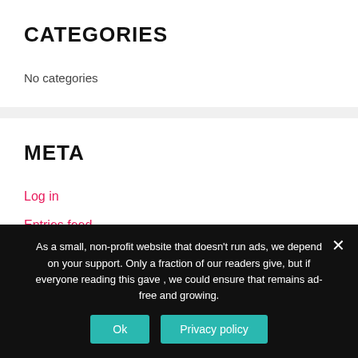CATEGORIES
No categories
META
Log in
Entries feed
As a small, non-profit website that doesn't run ads, we depend on your support. Only a fraction of our readers give, but if everyone reading this gave , we could ensure that remains ad-free and growing.
Ok
Privacy policy